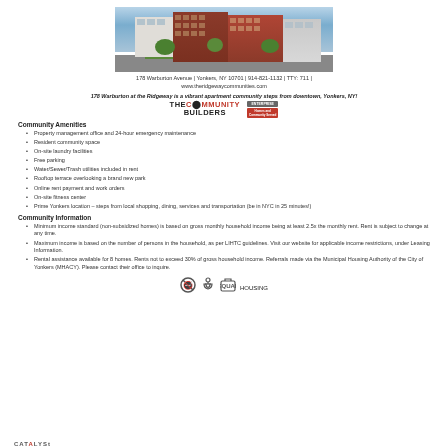[Figure (photo): Exterior rendering of 178 Warburton at the Ridgeway apartment building, a modern multi-story brick residential complex]
178 Warburton Avenue | Yonkers, NY 10701 | 914-821-1132 | TTY: 711 | www.theridgewaycommunities.com
178 Warburton at the Ridgeway is a vibrant apartment community steps from downtown, Yonkers, NY!
[Figure (logo): The Community Builders logo with partner logos]
Community Amenities
Property management office and 24-hour emergency maintenance
Resident community space
On-site laundry facilities
Free parking
Water/Sewer/Trash utilities included in rent
Rooftop terrace overlooking a brand new park
Online rent payment and work orders
On-site fitness center
Prime Yonkers location – steps from local shopping, dining, services and transportation (be in NYC in 25 minutes!)
Community Information
Minimum income standard (non-subsidized homes) is based on gross monthly household income being at least 2.5x the monthly rent. Rent is subject to change at any time.
Maximum income is based on the number of persons in the household, as per LIHTC guidelines. Visit our website for applicable income restrictions, under Leasing Information.
Rental assistance available for 8 homes. Rents not to exceed 30% of gross household income. Referrals made via the Municipal Housing Authority of the City of Yonkers (MHACY). Please contact their office to inquire.
[Figure (infographic): No smoking, accessible, and equal housing opportunity icons]
CATALYST